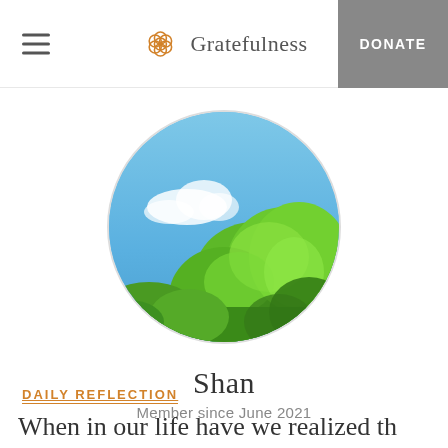Gratefulness | DONATE
[Figure (photo): Circular profile photo showing a bright blue sky with wispy white clouds and lush green tree tops visible in the lower and right portions of the frame]
Shan
Member since June 2021
DAILY REFLECTION
When in our life have we realized th...